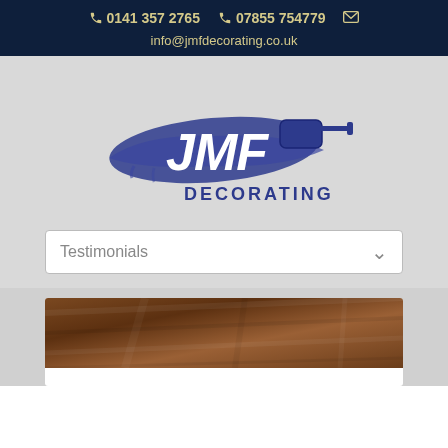☎ 0141 357 2765  ☎ 07855 754779  ✉  info@jmfdecorating.co.uk
[Figure (logo): JMF Decorating logo — stylized paint roller with blue brush stroke and 'JMF' in white script, 'DECORATING' in dark blue block letters below]
Testimonials
[Figure (photo): Brown wood-toned surface, partial view at bottom of page]